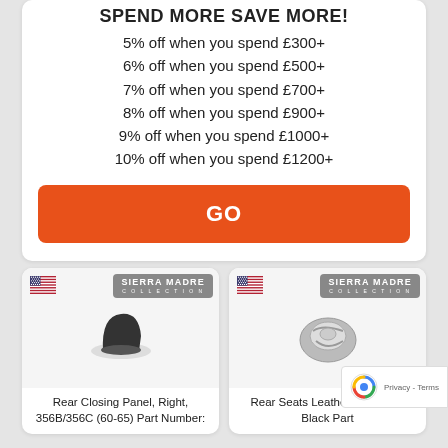SPEND MORE SAVE MORE!
5% off when you spend £300+
6% off when you spend £500+
7% off when you spend £700+
8% off when you spend £900+
9% off when you spend £1000+
10% off when you spend £1200+
GO
[Figure (photo): Sierra Madre Collection product photo - Rear Closing Panel, Right, 356B/356C with US flag icon]
Rear Closing Panel, Right, 356B/356C (60-65) Part Number:
[Figure (photo): Sierra Madre Collection product photo - Rear Seats Leather Strap Set, Black Part with US flag icon]
Rear Seats Leather Strap Set, Black Part